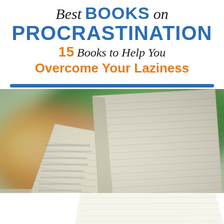Best BOOKS on PROCRASTINATION 15 Books to Help You Overcome Your Laziness
[Figure (photo): A person holding open a book with pages spread wide, photographed from below showing a blurred green and orange bokeh background. The pages of the book are clearly visible with text on them.]